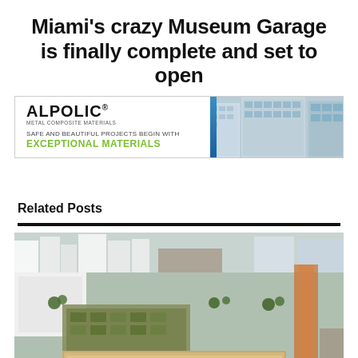Miami's crazy Museum Garage is finally complete and set to open
[Figure (photo): ALPOLIC Metal Composite Materials advertisement banner: logo on left, tagline 'Safe and beautiful projects begin with EXCEPTIONAL MATERIALS', building photos on right]
Related Posts
[Figure (photo): Aerial rendering/photograph of Miami Museum Garage and surrounding urban district with green rooftops, multi-story buildings, and city streets]